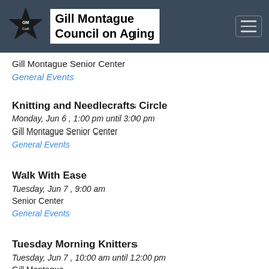Gill Montague Council on Aging
Gill Montague Senior Center
General Events
Knitting and Needlecrafts Circle
Monday, Jun 6 , 1:00 pm until 3:00 pm
Gill Montague Senior Center
General Events
Walk With Ease
Tuesday, Jun 7 , 9:00 am
Senior Center
General Events
Tuesday Morning Knitters
Tuesday, Jun 7 , 10:00 am until 12:00 pm
Gill [something]